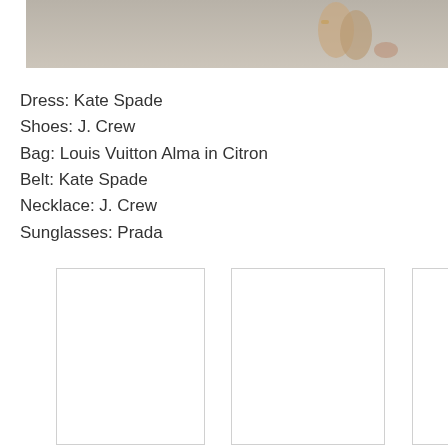[Figure (photo): Partial photo showing feet/legs on a sandy surface, cropped at top of page]
Dress: Kate Spade
Shoes: J. Crew
Bag: Louis Vuitton Alma in Citron
Belt: Kate Spade
Necklace: J. Crew
Sunglasses: Prada
[Figure (photo): Thumbnail image placeholder 1, white box with border]
[Figure (photo): Thumbnail image placeholder 2, white box with border]
[Figure (photo): Thumbnail image placeholder 3, partially visible, white box with border]